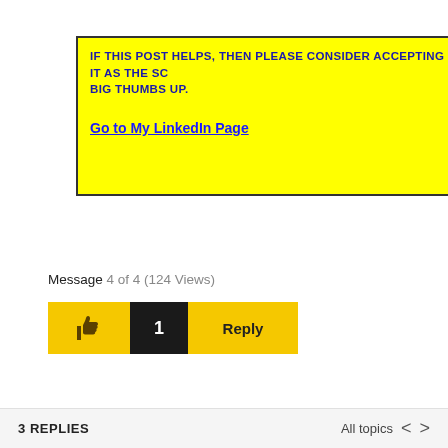[Figure (screenshot): Yellow highlighted box with blue text reading: IF THIS POST HELPS, THEN PLEASE CONSIDER ACCEPTING IT AS THE SC... BIG THUMBS UP. Below is a blue hyperlink: Go to My LinkedIn Page]
View solution in original post
Message 4 of 4 (124 Views)
[Figure (screenshot): Row of buttons: yellow thumbs-up like button, black count button showing 1, yellow Reply button]
3 REPLIES    All topics  < >